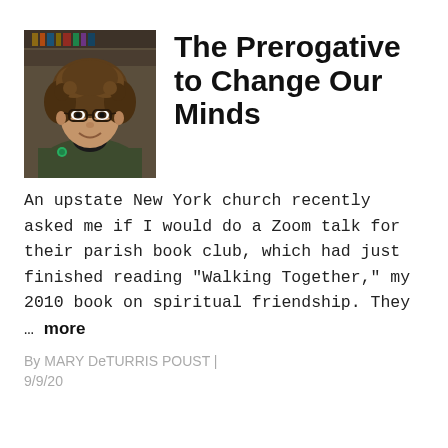[Figure (photo): Headshot of a woman with curly brown hair and glasses, wearing a dark jacket with a green pin, smiling, with bookshelves visible in the background.]
The Prerogative to Change Our Minds
An upstate New York church recently asked me if I would do a Zoom talk for their parish book club, which had just finished reading “Walking Together,” my 2010 book on spiritual friendship. They … more
By MARY DeTURRIS POUST | 9/9/20